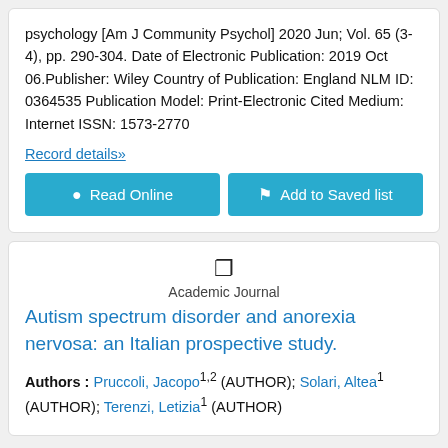psychology [Am J Community Psychol] 2020 Jun; Vol. 65 (3-4), pp. 290-304. Date of Electronic Publication: 2019 Oct 06.Publisher: Wiley Country of Publication: England NLM ID: 0364535 Publication Model: Print-Electronic Cited Medium: Internet ISSN: 1573-2770
Record details»
Read Online | Add to Saved list
Academic Journal
Autism spectrum disorder and anorexia nervosa: an Italian prospective study.
Authors : Pruccoli, Jacopo1,2 (AUTHOR); Solari, Altea1 (AUTHOR); Terenzi, Letizia1 (AUTHOR)